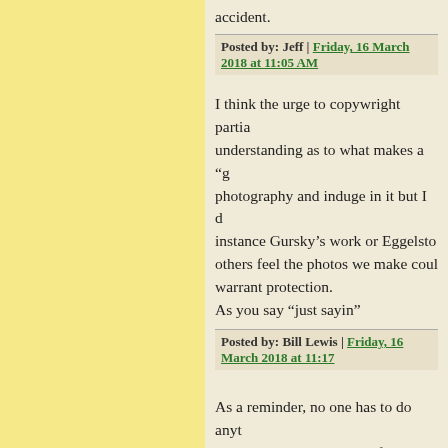accident.
Posted by: Jeff | Friday, 16 March 2018 at 11:05 AM
I think the urge to copywright partia... understanding as to what makes a "g... photography and induge in it but I d... instance Gursky’s work or Eggelsto... others feel the photos we make coul... warrant protection.
As you say “just sayin”
Posted by: Bill Lewis | Friday, 16 March 2018 at 11:17
As a reminder, no one has to do anyt... automatic, as soon as it is fixed in a
Registration, of courses, offers more... infringement, but the principal of co... Constitution. No one ever knows wh...